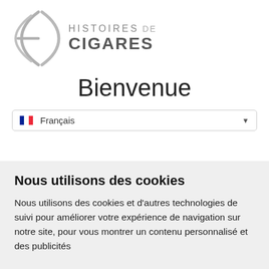[Figure (logo): Histoires de Cigares logo with stylized parenthesis-like symbol and brand name text]
Bienvenue
🇫🇷 Français
Nous utilisons des cookies
Nous utilisons des cookies et d'autres technologies de suivi pour améliorer votre expérience de navigation sur notre site, pour vous montrer un contenu personnalisé et des publicités